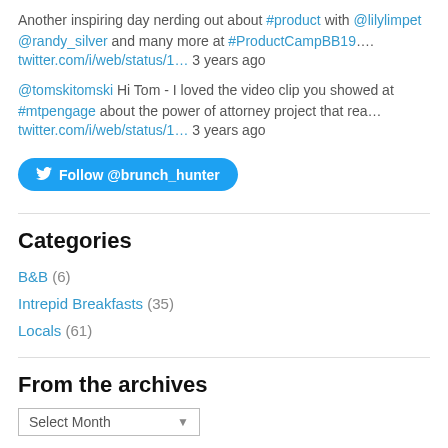Another inspiring day nerding out about #product with @lilylimpet @randy_silver and many more at #ProductCampBB19….
twitter.com/i/web/status/1… 3 years ago
@tomskitomski Hi Tom - I loved the video clip you showed at #mtpengage about the power of attorney project that rea…
twitter.com/i/web/status/1… 3 years ago
Follow @brunch_hunter
Categories
B&B (6)
Intrepid Breakfasts (35)
Locals (61)
From the archives
Select Month